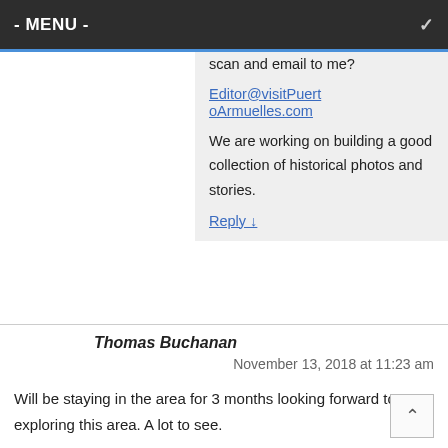- MENU -
scan and email to me? Editor@visitPuertoArmuelles.com We are working on building a good collection of historical photos and stories.
Reply ↓
Thomas Buchanan
November 13, 2018 at 11:23 am
Will be staying in the area for 3 months looking forward to exploring this area. A lot to see.
Reply ↓